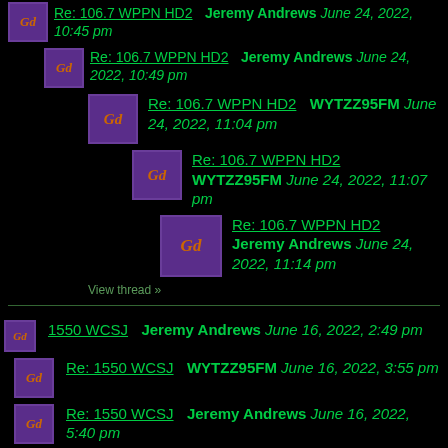Re: 106.7 WPPN HD2 - Jeremy Andrews June 24, 2022, 10:45 pm
Re: 106.7 WPPN HD2 - Jeremy Andrews June 24, 2022, 10:49 pm
Re: 106.7 WPPN HD2 - WYTZZ95FM June 24, 2022, 11:04 pm
Re: 106.7 WPPN HD2 - WYTZZ95FM June 24, 2022, 11:07 pm
Re: 106.7 WPPN HD2 - Jeremy Andrews June 24, 2022, 11:14 pm
View thread »
1550 WCSJ - Jeremy Andrews June 16, 2022, 2:49 pm
Re: 1550 WCSJ - WYTZZ95FM June 16, 2022, 3:55 pm
Re: 1550 WCSJ - Jeremy Andrews June 16, 2022, 5:40 pm